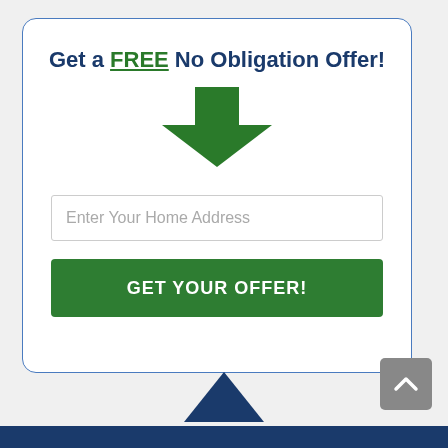Get a FREE No Obligation Offer!
[Figure (illustration): A large green downward-pointing arrow icon centered below the title]
Enter Your Home Address
GET YOUR OFFER!
[Figure (illustration): A dark blue upward-pointing arrow centered at the bottom, partially visible above the footer bar]
[Figure (illustration): A gray scroll-to-top button with an upward chevron in the bottom right corner]